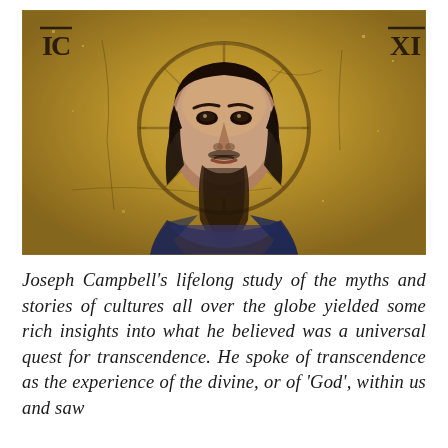[Figure (photo): Byzantine mosaic depicting Jesus Christ (Pantocrator) from Hagia Sophia, showing a bearded figure with a halo on a gold background, with Greek letters IC and XC visible in the upper corners.]
Joseph Campbell's lifelong study of the myths and stories of cultures all over the globe yielded some rich insights into what he believed was a universal quest for transcendence. He spoke of transcendence as the experience of the divine, or of 'God', within us and saw